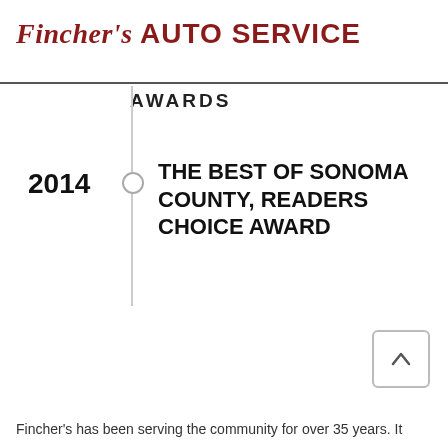Fincher's AUTO SERVICE
AWARDS
2014
THE BEST OF SONOMA COUNTY, READERS CHOICE AWARD
Fincher's has been serving the community for over 35 years. It